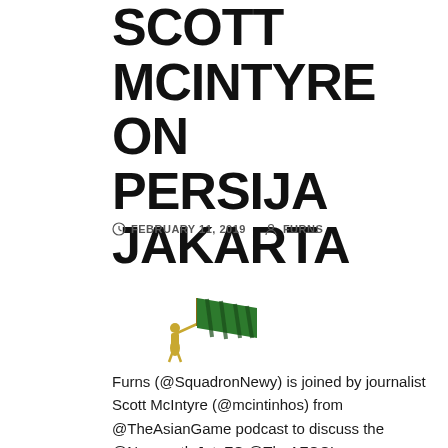SCOTT MCINTYRE ON PERSIJA JAKARTA
FEBRUARY 11, 2019   FURNS
[Figure (logo): Persija Jakarta logo — stylized golden figure with green striped flag/banner]
Furns (@SquadronNewy) is joined by journalist Scott McIntyre (@mcintinhos) from @TheAsianGame podcast to discuss the @NewcastleJetsFC @TheAFCCL